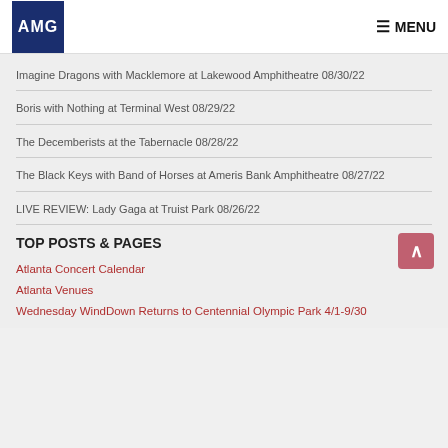AMG | MENU
Imagine Dragons with Macklemore at Lakewood Amphitheatre 08/30/22
Boris with Nothing at Terminal West 08/29/22
The Decemberists at the Tabernacle 08/28/22
The Black Keys with Band of Horses at Ameris Bank Amphitheatre 08/27/22
LIVE REVIEW: Lady Gaga at Truist Park 08/26/22
TOP POSTS & PAGES
Atlanta Concert Calendar
Atlanta Venues
Wednesday WindDown Returns to Centennial Olympic Park 4/1-9/30